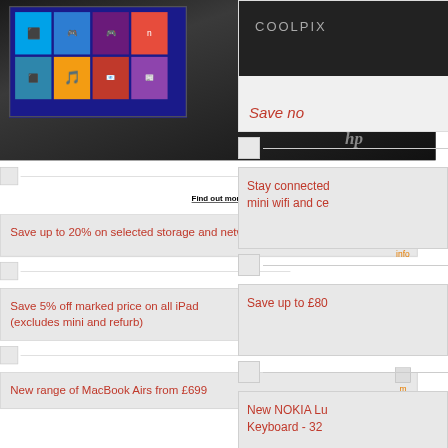[Figure (photo): HP laptop showing Windows 8 interface, black and white photo]
[Figure (photo): Small image placeholder bar]
Find out more
Save up to 20% on selected storage and networking
more info
[Figure (photo): Small image placeholder bar]
Save 5% off marked price on all iPad (excludes mini and refurb)
more info
[Figure (photo): Small image placeholder bar]
New range of MacBook Airs from £699
more info
[Figure (photo): Nikon COOLPIX camera image, Save now text]
[Figure (photo): Small image placeholder bar]
Stay connected mini wifi and ce
[Figure (photo): Small image placeholder bar]
Save up to £80
[Figure (photo): Small image placeholder bar]
New NOKIA Lu Keyboard - 32